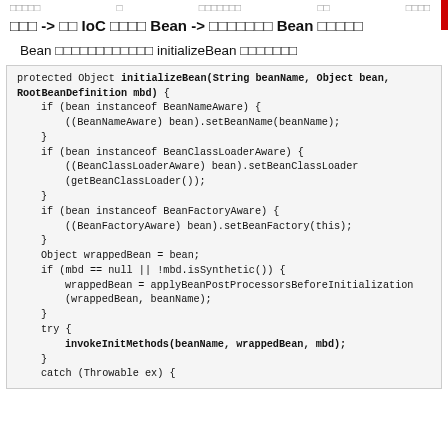... -> ... IoC ... Bean -> ... Bean ...
Bean ... initializeBean ...
[Figure (screenshot): Java source code showing the initializeBean method with checks for BeanNameAware, BeanClassLoaderAware, BeanFactoryAware interfaces, then applying BeanPostProcessors before initialization, and invoking init methods inside a try-catch block.]